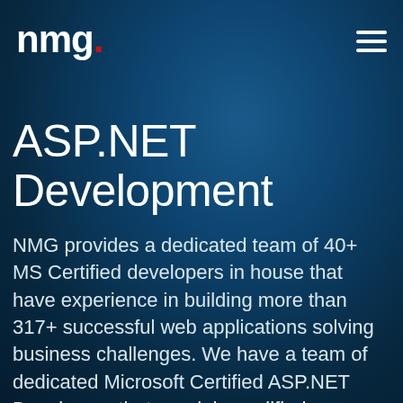nmg. [hamburger menu]
ASP.NET Development
NMG provides a dedicated team of 40+ MS Certified developers in house that have experience in building more than 317+ successful web applications solving business challenges. We have a team of dedicated Microsoft Certified ASP.NET Developers that are duly qualified, experienced and capable of handling large IT projects. Their expertise, reinforced by deep understanding of your business, makes us an ideal technology partner for all your project needs.